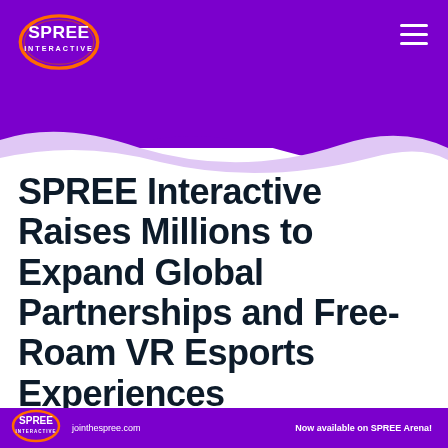[Figure (logo): SPREE Interactive logo on purple header background with orange oval outline]
SPREE Interactive Raises Millions to Expand Global Partnerships and Free-Roam VR Esports Experiences
jointhespree.com    Now available on SPREE Arena!